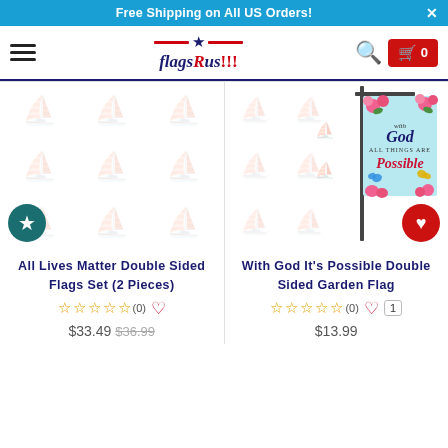Free Shipping on All US Orders!
[Figure (logo): FlagsRus!!! logo with American flag stripes and star]
[Figure (photo): With God It's Possible Double Sided Garden Flag - garden flag on a pole with floral and butterfly design, text reads 'with God All Things Are Possible']
All Lives Matter Double Sided Flags Set (2 Pieces)
☆☆☆☆☆ (0) ♡
$33.49  $36.99
With God It's Possible Double Sided Garden Flag
☆☆☆☆☆ (0) ♡ 1
$13.99